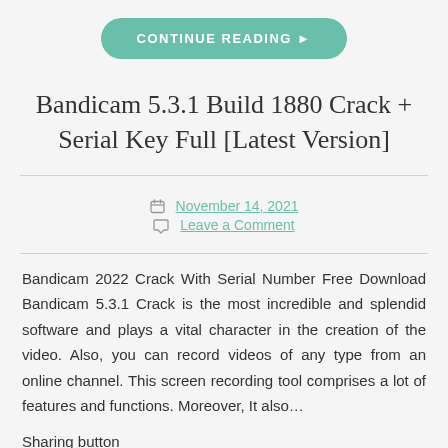[Figure (other): Green rounded button with text CONTINUE READING and right arrow]
Bandicam 5.3.1 Build 1880 Crack + Serial Key Full [Latest Version]
November 14, 2021
Leave a Comment
Bandicam 2022 Crack With Serial Number Free Download Bandicam 5.3.1 Crack is the most incredible and splendid software and plays a vital character in the creation of the video. Also, you can record videos of any type from an online channel. This screen recording tool comprises a lot of features and functions. Moreover, It also…
Sharing button